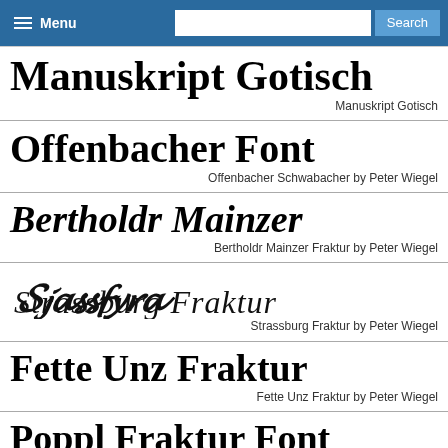Menu  [search bar]  Search
Manuskript Gotisch
Manuskript Gotisch
Offenbacher Font
Offenbacher Schwabacher by Peter Wiegel
Bertholdr Mainzer
Bertholdr Mainzer Fraktur by Peter Wiegel
[Figure (illustration): Strassburg Fraktur decorative blackletter font sample showing ornate calligraphic text]
Strassburg Fraktur by Peter Wiegel
Fette Unz Fraktur
Fette Unz Fraktur by Peter Wiegel
Poppl Fraktur Font
Poppl Fraktur by Peter Wiegel